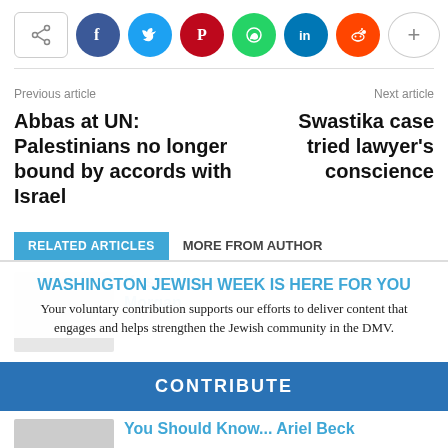[Figure (infographic): Social share bar with share icon button, Facebook, Twitter, Pinterest, WhatsApp, LinkedIn, Reddit circle buttons, and a plus/more button]
Previous article
Next article
Abbas at UN: Palestinians no longer bound by accords with Israel
Swastika case tried lawyer's conscience
RELATED ARTICLES   MORE FROM AUTHOR
WASHINGTON JEWISH WEEK IS HERE FOR YOU
Your voluntary contribution supports our efforts to deliver content that engages and helps strengthen the Jewish community in the DMV.
Kosher street food coming to Adams Morgan
CONTRIBUTE
You Should Know... Ariel Beck